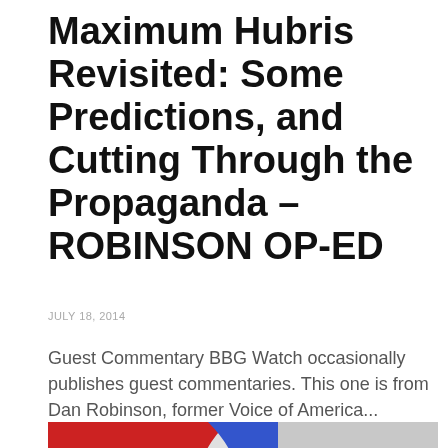Maximum Hubris Revisited: Some Predictions, and Cutting Through the Propaganda – ROBINSON OP-ED
JULY 18, 2014
Guest Commentary BBG Watch occasionally publishes guest commentaries. This one is from Dan Robinson, former Voice of America...
[Figure (logo): Voice of America / BBG logo with red, white, blue curved stripe design and text 'UNITED STATES']